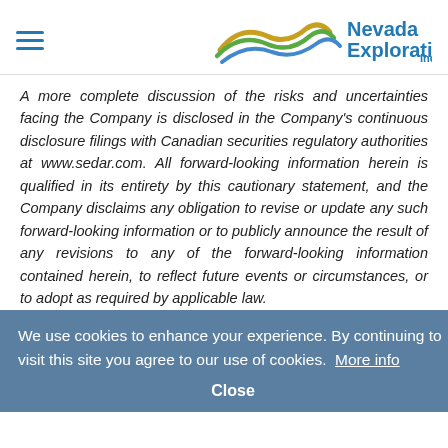Nevada Exploration Inc
A more complete discussion of the risks and uncertainties facing the Company is disclosed in the Company's continuous disclosure filings with Canadian securities regulatory authorities at www.sedar.com. All forward-looking information herein is qualified in its entirety by this cautionary statement, and the Company disclaims any obligation to revise or update any such forward-looking information or to publicly announce the result of any revisions to any of the forward-looking information contained herein, to reflect future events or circumstances, or to adopt as required by applicable law.
We use cookies to enhance your experience. By continuing to visit this site you agree to our use of cookies. More info
Close
United States Advisory:
The securities referred to herein have not been and will not